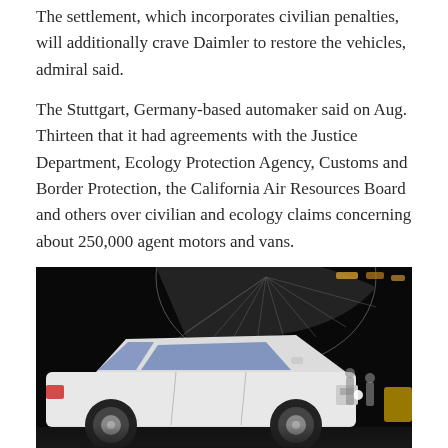The settlement, which incorporates civilian penalties, will additionally crave Daimler to restore the vehicles, admiral said.
The Stuttgart, Germany-based automaker said on Aug. Thirteen that it had agreements with the Justice Department, Ecology Protection Agency, Customs and Border Protection, the California Air Resources Board and others over civilian and ecology claims concerning about 250,000 agent motors and vans.
[Figure (photo): A white SUV (Mercedes-Benz GLS or similar) displayed at an auto show, set against a dark background with ceiling arc structure and ambient lighting. Other attendees visible in the background.]